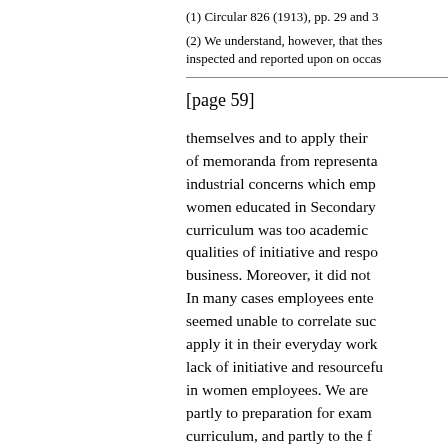(1) Circular 826 (1913), pp. 29 and 3
(2) We understand, however, that thes inspected and reported upon on occas
[page 59]
themselves and to apply their of memoranda from representa industrial concerns which emp women educated in Secondary curriculum was too academic qualities of initiative and resp business. Moreover, it did not In many cases employees ente seemed unable to correlate suc apply it in their everyday work lack of initiative and resourcef in women employees. We are partly to preparation for exam curriculum, and partly to the f Schools help their pupils too m girls never really acquire the h themselves and correlating suc appear from our wider that